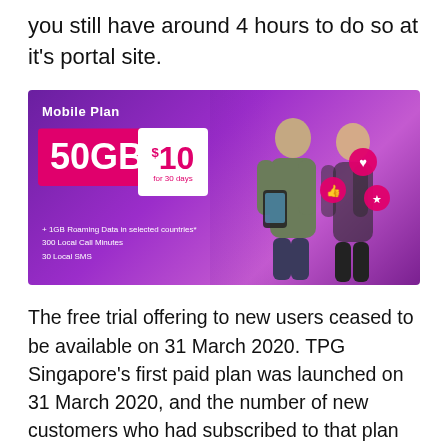you still have around 4 hours to do so at it's portal site.
[Figure (photo): Advertisement banner for TPG Singapore Mobile Plan: 50GB for $10 for 30 days, with two young people looking at a phone, social media emoji bubbles floating around them. Purple background. Features listed: +1GB Roaming Data in selected countries, 300 Local Call Minutes, 30 Local SMS.]
The free trial offering to new users ceased to be available on 31 March 2020. TPG Singapore's first paid plan was launched on 31 March 2020, and the number of new customers who had subscribed to that plan as at 30 April 2020 was approximately 7,000. Also on 31 March 2020, the first batch of approximately 186,000 free trial users were given 60 days'